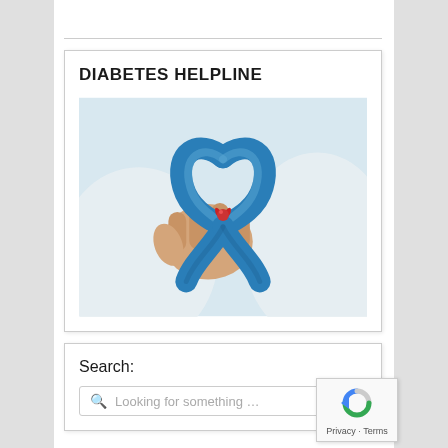DIABETES HELPLINE
[Figure (photo): A person in a white sweater holding a blue diabetes awareness ribbon with a red blood drop symbol at its center.]
Search:
[Figure (logo): reCAPTCHA badge with Privacy and Terms links.]